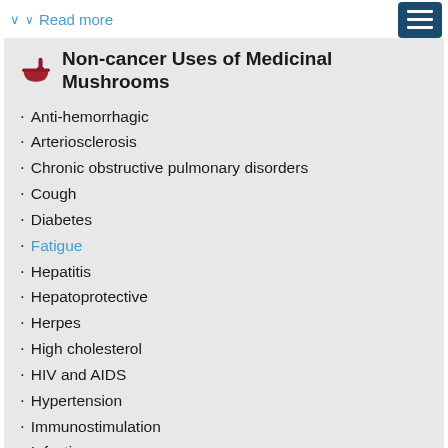∨ Read more
Non-cancer Uses of Medicinal Mushrooms
Anti-hemorrhagic
Arteriosclerosis
Chronic obstructive pulmonary disorders
Cough
Diabetes
Fatigue
Hepatitis
Hepatoprotective
Herpes
High cholesterol
HIV and AIDS
Hypertension
Immunostimulation
Infections
Inflammation
Nephropathy
Sexual dysfunction
Stimulant